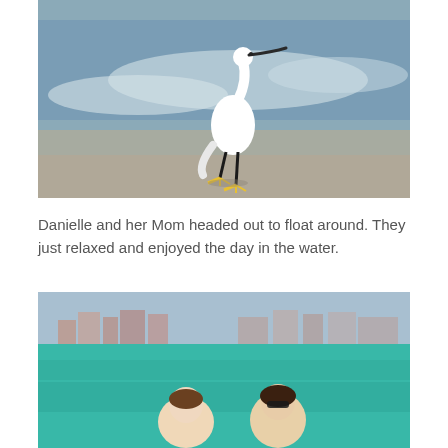[Figure (photo): A white snowy egret with black legs and yellow feet standing on a wet sandy beach with ocean waves in the background.]
Danielle and her Mom headed out to float around. They just relaxed and enjoyed the day in the water.
[Figure (photo): Two women visible from shoulders up standing in bright turquoise/green ocean water with buildings and coastline visible in the blurred background.]